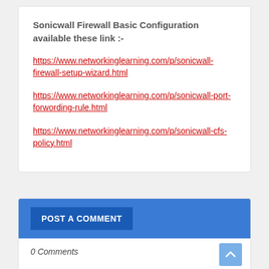Sonicwall Firewall Basic Configuration available these link :-
https://www.networkinglearning.com/p/sonicwall-firewall-setup-wizard.html
https://www.networkinglearning.com/p/sonicwall-port-forwording-rule.html
https://www.networkinglearning.com/p/sonicwall-cfs-policy.html
POST A COMMENT
0 Comments